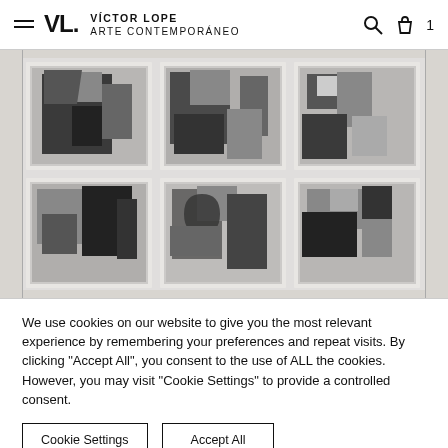VÍCTOR LOPE ARTE CONTEMPORÁNEO
[Figure (photo): Six abstract artworks arranged in a 2x3 grid, framed in white, showing geometric black-and-white compositions made from cut and folded materials.]
We use cookies on our website to give you the most relevant experience by remembering your preferences and repeat visits. By clicking "Accept All", you consent to the use of ALL the cookies. However, you may visit "Cookie Settings" to provide a controlled consent.
Cookie Settings | Accept All